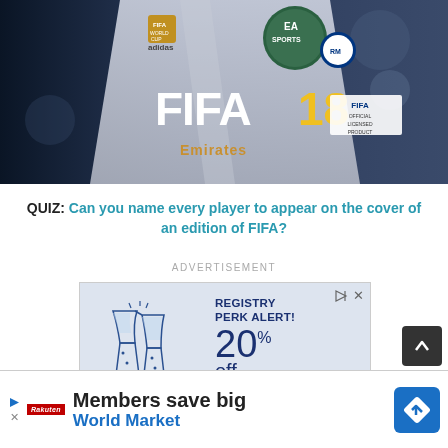[Figure (photo): FIFA 18 video game cover featuring a Real Madrid player wearing white jersey with Emirates sponsor, EA Sports and FIFA logos visible]
QUIZ: Can you name every player to appear on the cover of an edition of FIFA?
ADVERTISEMENT
[Figure (screenshot): Advertisement banner showing 'REGISTRY PERK ALERT! 20% off post-wedding...' with illustration of champagne glasses clinking]
[Figure (screenshot): Bottom advertisement banner: 'Members save big World Market' with Rakuten logo and blue diamond road sign icon]